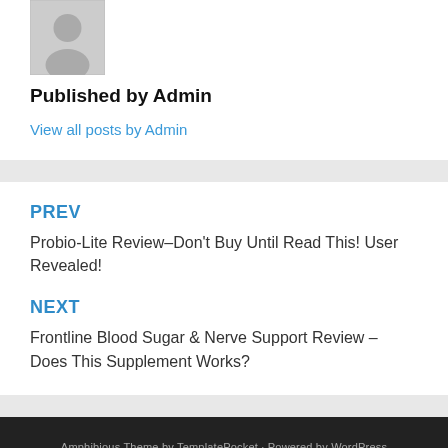[Figure (illustration): Grey silhouette avatar placeholder image]
Published by Admin
View all posts by Admin
PREV
Probio-Lite Review–Don't Buy Until Read This! User Revealed!
NEXT
Frontline Blood Sugar & Nerve Support Review – Does This Supplement Works?
Amphibious Theme by TemplatePocket · Powered by WordPress